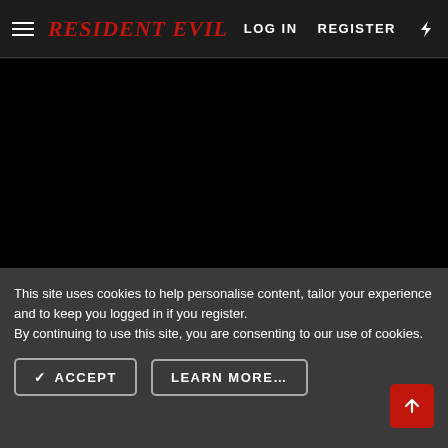Resident Evil — LOG IN  REGISTER
[Figure (screenshot): Dark/black background image area below the header navigation bar]
This site uses cookies to help personalise content, tailor your experience and to keep you logged in if you register.
By continuing to use this site, you are consenting to our use of cookies.
ACCEPT   LEARN MORE...